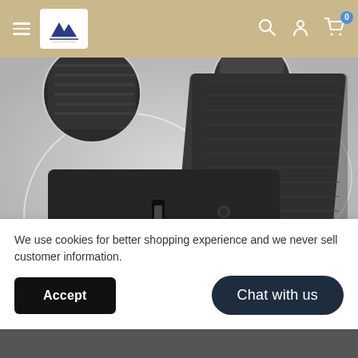[Figure (screenshot): E-commerce website navigation bar with hamburger menu, logo, search icon, user icon, and cart icon with badge showing 0]
[Figure (photo): Product photo of a black foldable solar charger/wallet with a compass keychain attached, shown open with solar panels visible]
We use cookies for better shopping experience and we never sell customer information.
Accept
Chat with us